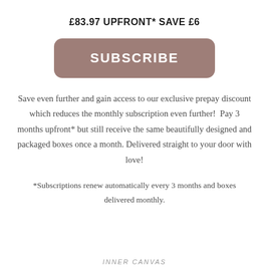£83.97 UPFRONT* SAVE £6
[Figure (other): A rounded rectangle button with mauve/taupe background color labeled SUBSCRIBE in white bold letters]
Save even further and gain access to our exclusive prepay discount which reduces the monthly subscription even further!  Pay 3 months upfront* but still receive the same beautifully designed and packaged boxes once a month. Delivered straight to your door with love!
*Subscriptions renew automatically every 3 months and boxes delivered monthly.
INNER CANVAS